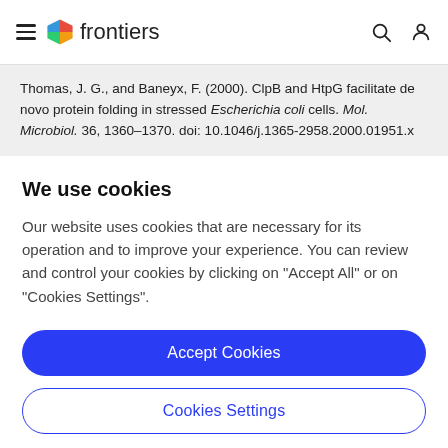frontiers
Thomas, J. G., and Baneyx, F. (2000). ClpB and HtpG facilitate de novo protein folding in stressed Escherichia coli cells. Mol. Microbiol. 36, 1360–1370. doi: 10.1046/j.1365-2958.2000.01951.x
We use cookies
Our website uses cookies that are necessary for its operation and to improve your experience. You can review and control your cookies by clicking on "Accept All" or on "Cookies Settings".
Accept Cookies
Cookies Settings